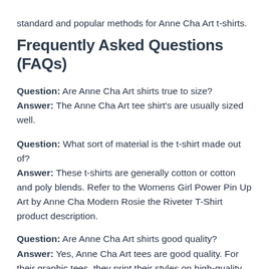standard and popular methods for Anne Cha Art t-shirts.
Frequently Asked Questions (FAQs)
Question: Are Anne Cha Art shirts true to size?
Answer: The Anne Cha Art tee shirt's are usually sized well.
Question: What sort of material is the t-shirt made out of?
Answer: These t-shirts are generally cotton or cotton and poly blends. Refer to the Womens Girl Power Pin Up Art by Anne Cha Modern Rosie the Riveter T-Shirt product description.
Question: Are Anne Cha Art shirts good quality?
Answer: Yes, Anne Cha Art tees are good quality. For their graphic tees, they print their styles on high-quality blank